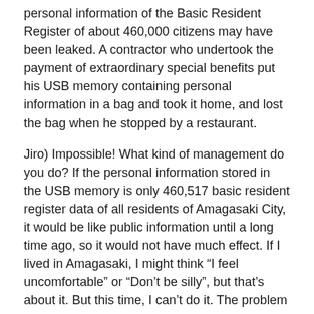personal information of the Basic Resident Register of about 460,000 citizens may have been leaked. A contractor who undertook the payment of extraordinary special benefits put his USB memory containing personal information in a bag and took it home, and lost the bag when he stopped by a restaurant.
Jiro) Impossible! What kind of management do you do? If the personal information stored in the USB memory is only 460,517 basic resident register data of all residents of Amagasaki City, it would be like public information until a long time ago, so it would not have much effect. If I lived in Amagasaki, I might think “I feel uncomfortable” or “Don’t be silly”, but that’s about it. But this time, I can’t do it. The problem is from here.
In addition to the above-mentioned Basic Resident Register data, the USB memory contains 360,573 information on